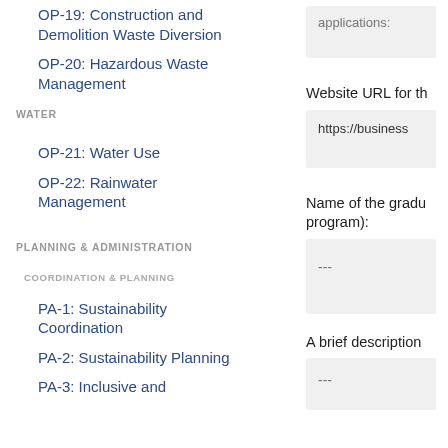OP-19: Construction and Demolition Waste Diversion
OP-20: Hazardous Waste Management
WATER
OP-21: Water Use
OP-22: Rainwater Management
PLANNING & ADMINISTRATION
COORDINATION & PLANNING
PA-1: Sustainability Coordination
PA-2: Sustainability Planning
PA-3: Inclusive and
applications:
Website URL for th
https://business
Name of the gradu program):
---
A brief description
---